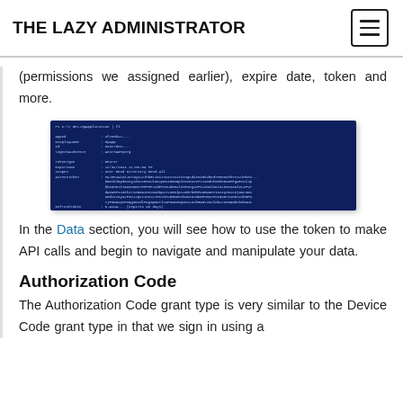THE LAZY ADMINISTRATOR
(permissions we assigned earlier), expire date, token and more.
[Figure (screenshot): A dark blue PowerShell or terminal window showing command output with token/API response data in small white/light blue text.]
In the Data section, you will see how to use the token to make API calls and begin to navigate and manipulate your data.
Authorization Code
The Authorization Code grant type is very similar to the Device Code grant type in that we sign in using a